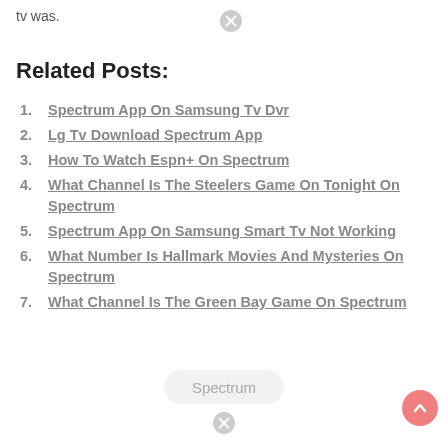tv was.
Related Posts:
Spectrum App On Samsung Tv Dvr
Lg Tv Download Spectrum App
How To Watch Espn+ On Spectrum
What Channel Is The Steelers Game On Tonight On Spectrum
Spectrum App On Samsung Smart Tv Not Working
What Number Is Hallmark Movies And Mysteries On Spectrum
What Channel Is The Green Bay Game On Spectrum
Spectrum